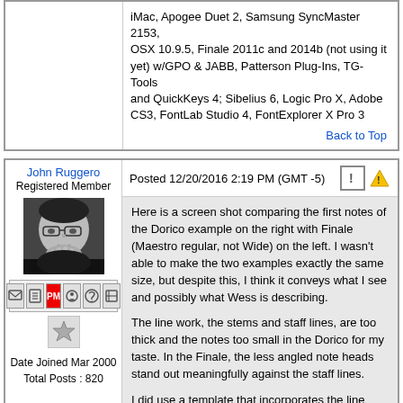iMac, Apogee Duet 2, Samsung SyncMaster 2153, OSX 10.9.5, Finale 2011c and 2014b (not using it yet) w/GPO & JABB, Patterson Plug-Ins, TG-Tools and QuickKeys 4; Sibelius 6, Logic Pro X, Adobe CS3, FontLab Studio 4, FontExplorer X Pro 3
Back to Top
John Ruggero
Registered Member
[Figure (photo): Black and white headshot photo of John Ruggero, a man with glasses resting his hand on his chin in a thoughtful pose]
Date Joined Mar 2000
Total Posts : 820
Posted 12/20/2016 2:19 PM (GMT -5)
Here is a screen shot comparing the first notes of the Dorico example on the right with Finale (Maestro regular, not Wide) on the left. I wasn't able to make the two examples exactly the same size, but despite this, I think it conveys what I see and possibly what Wess is describing.

The line work, the stems and staff lines, are too thick and the notes too small in the Dorico for my taste. In the Finale, the less angled note heads stand out meaningfully against the staff lines.

I did use a template that incorporates the line settings that were established at Notat.io in doing my example. They are not the Finale Default settings. It would be interesting to see the Dorico example with comparable settings and the wider note head that Knut mentioned to see if it can achieve the same effect as Finale.
Mac mini (OS 10.8.5) with dual monitors, Finale 2014.5 (Finale 2011 and 2014d as backups) with GPO 4
Kurzweil Mark 5 with M-Audio Midisport 2 x 2, Adobe InDesign CS4, SmartScore X Pro, JW Plug-ins